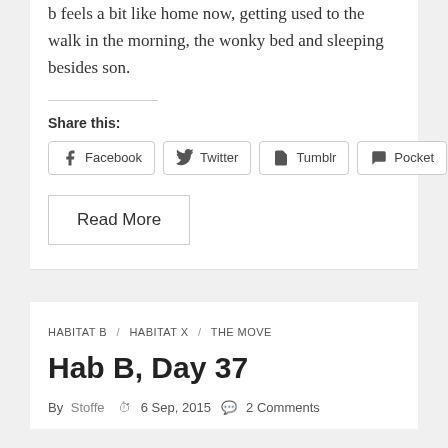b feels a bit like home now, getting used to the walk in the morning, the wonky bed and sleeping besides son.
Share this:
Facebook  Twitter  Tumblr  Pocket
Read More
HABITAT B / HABITAT X / THE MOVE
Hab B, Day 37
By  Stoffe  6 Sep, 2015  2 Comments